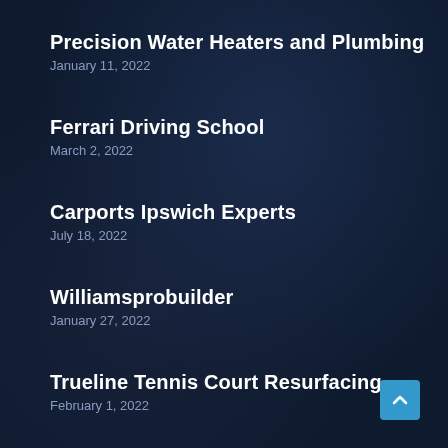Precision Water Heaters and Plumbing
January 11, 2022
Ferrari Driving School
March 2, 2022
Carports Ipswich Experts
July 18, 2022
Williamsprobuilder
January 27, 2022
Trueline Tennis Court Resurfacing
February 1, 2022